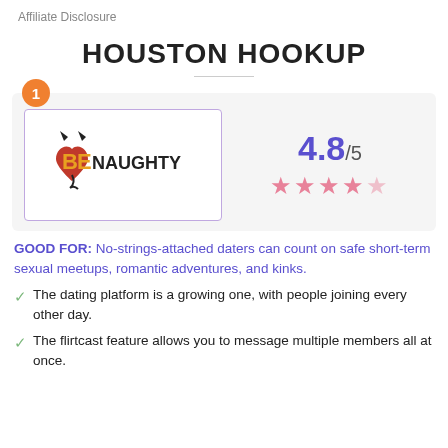Affiliate Disclosure
HOUSTON HOOKUP
[Figure (logo): BeNaughty logo — stylized text 'BE NAUGHTY' with a devil heart icon in red and orange/yellow colors]
4.8/5
★★★★☆
GOOD FOR: No-strings-attached daters can count on safe short-term sexual meetups, romantic adventures, and kinks.
The dating platform is a growing one, with people joining every other day.
The flirtcast feature allows you to message multiple members all at once.